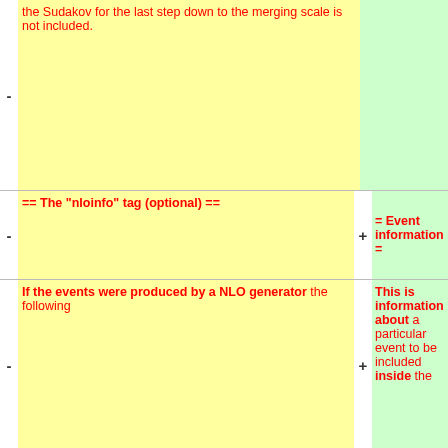the Sudakov for the last step down to the merging scale is not included.
== The "nloinfo" tag (optional) ==
= Event information =
If the events were produced by a NLO generator the following
This is information about a particular event to be included inside the
information can be supplied as attributes:
<tt>event</tt> tag after the compulsory block of parameters corresponding to
* scheme (R): The NLO (subtraction) scheme used. The following values are valid:
the <tt>HEPEUP</tt> common block.
** "CSdipole": Catani-Seymour subtraction.
** "POWHEG": Nasons ...